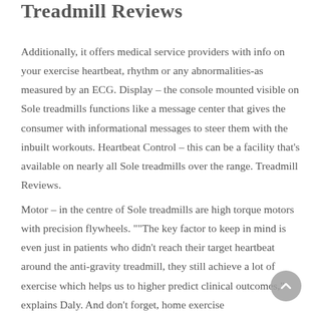Treadmill Reviews
Additionally, it offers medical service providers with info on your exercise heartbeat, rhythm or any abnormalities-as measured by an ECG. Display – the console mounted visible on Sole treadmills functions like a message center that gives the consumer with informational messages to steer them with the inbuilt workouts. Heartbeat Control – this can be a facility that's available on nearly all Sole treadmills over the range. Treadmill Reviews.
Motor – in the centre of Sole treadmills are high torque motors with precision flywheels. ""The key factor to keep in mind is even just in patients who didn't reach their target heartbeat around the anti-gravity treadmill, they still achieve a lot of exercise which helps us to higher predict clinical outcomes," explains Daly. And don't forget, home exercise